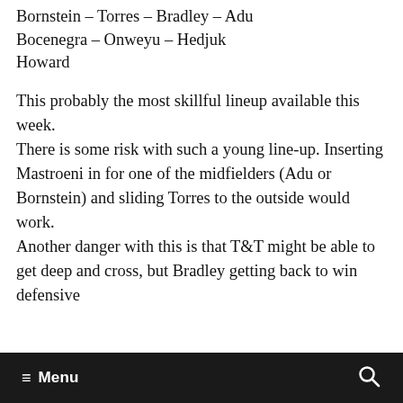Bornstein – Torres – Bradley – Adu Bocenegra – Onweyu – Hedjuk Howard
This probably the most skillful lineup available this week. There is some risk with such a young line-up. Inserting Mastroeni in for one of the midfielders (Adu or Bornstein) and sliding Torres to the outside would work. Another danger with this is that T&T might be able to get deep and cross, but Bradley getting back to win defensive
≡ Menu 🔍